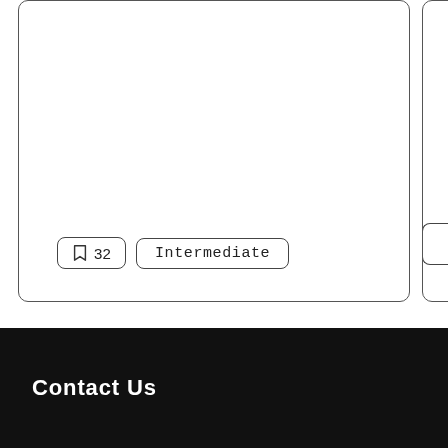[Figure (screenshot): Partial view of a card UI element with a bookmark icon showing '32' and an 'Intermediate' badge/button, with a second partially visible card to the right.]
Contact Us